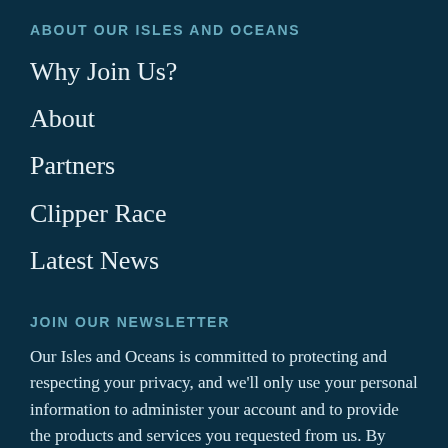ABOUT OUR ISLES AND OCEANS
Why Join Us?
About
Partners
Clipper Race
Latest News
JOIN OUR NEWSLETTER
Our Isles and Oceans is committed to protecting and respecting your privacy, and we'll only use your personal information to administer your account and to provide the products and services you requested from us. By providing us with your contact details, you consent to us contacting you for this purpose.